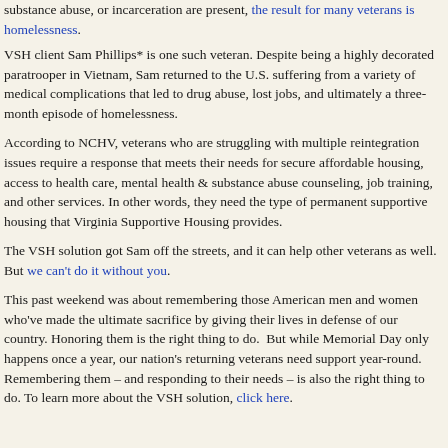substance abuse, or incarceration are present, the result for many veterans is homelessness.
VSH client Sam Phillips* is one such veteran. Despite being a highly decorated paratrooper in Vietnam, Sam returned to the U.S. suffering from a variety of medical complications that led to drug abuse, lost jobs, and ultimately a three-month episode of homelessness.
According to NCHV, veterans who are struggling with multiple reintegration issues require a response that meets their needs for secure affordable housing, access to health care, mental health & substance abuse counseling, job training, and other services. In other words, they need the type of permanent supportive housing that Virginia Supportive Housing provides.
The VSH solution got Sam off the streets, and it can help other veterans as well. But we can't do it without you.
This past weekend was about remembering those American men and women who've made the ultimate sacrifice by giving their lives in defense of our country. Honoring them is the right thing to do.  But while Memorial Day only happens once a year, our nation's returning veterans need support year-round. Remembering them – and responding to their needs – is also the right thing to do. To learn more about the VSH solution, click here.